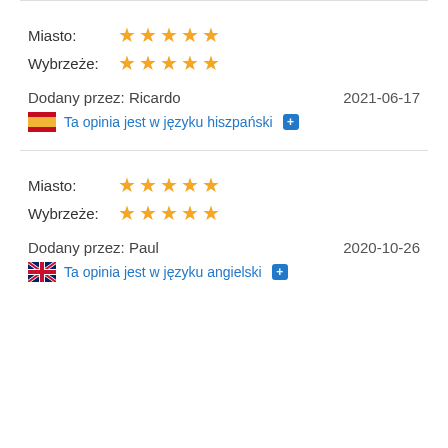Miasto: ★★★★★
Wybrzeże: ★★★★★
Dodany przez: Ricardo    2021-06-17
Ta opinia jest w języku hiszpański
Miasto: ★★★★★
Wybrzeże: ★★★★★
Dodany przez: Paul    2020-10-26
Ta opinia jest w języku angielski